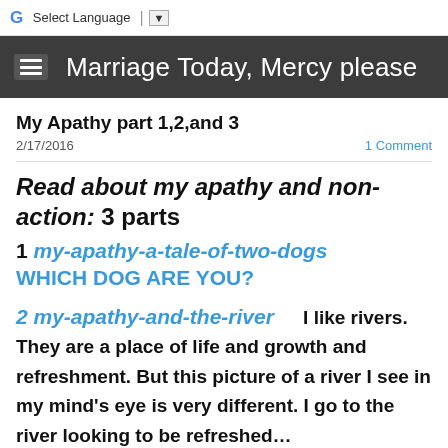G Select Language ▼
Marriage Today, Mercy please
My Apathy part 1,2,and 3
2/17/2016    1 Comment
Read about my apathy and non-action: 3 parts
1 my-apathy-a-tale-of-two-dogs
WHICH DOG ARE YOU?

2 my-apathy-and-the-river    I like rivers. They are a place of life and growth and refreshment. But this picture of a river I see in my mind's eye is very different. I go to the river looking to be refreshed...

3 my-apathy-and-calling-me-to-action
Well by now, as they say, I probably "let the cat out